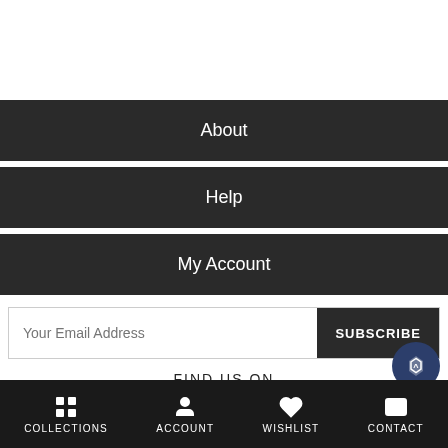About
Help
My Account
Your Email Address  SUBSCRIBE
FIND US ON
[Figure (screenshot): Social media icons row: shopping basket (yellow), Facebook, Twitter, YouTube, Instagram, Pinterest; lottie/app icon top right; WhatsApp text below]
COLLECTIONS  ACCOUNT  WISHLIST  CONTACT